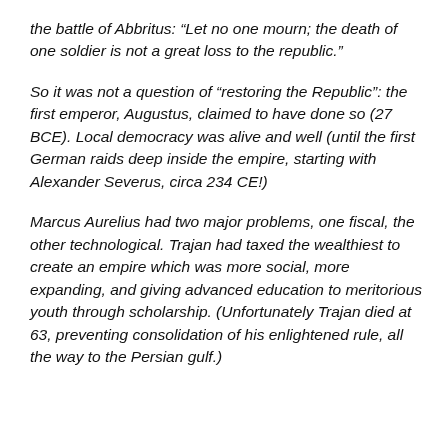the battle of Abbritus: “Let no one mourn; the death of one soldier is not a great loss to the republic.”
So it was not a question of “restoring the Republic”: the first emperor, Augustus, claimed to have done so (27 BCE). Local democracy was alive and well (until the first German raids deep inside the empire, starting with Alexander Severus, circa 234 CE!)
Marcus Aurelius had two major problems, one fiscal, the other technological. Trajan had taxed the wealthiest to create an empire which was more social, more expanding, and giving advanced education to meritorious youth through scholarship. (Unfortunately Trajan died at 63, preventing consolidation of his enlightened rule, all the way to the Persian gulf.)